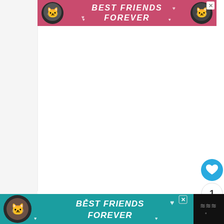[Figure (other): Advertisement banner at top: pink/red background with 'BEST FRIENDS FOREVER' text in white italic bold, cat faces on left and right, close button (X) top right]
[Figure (other): White content area in middle of page]
[Figure (other): Sidebar UI buttons on right: blue heart/like button, count '1', share button, and tilde logo at bottom right]
[Figure (other): Advertisement banner at bottom: teal background with 'BEST FRIENDS FOREVER' text in white italic bold, cat face on left, close button (X) top right, dark logo on far right]